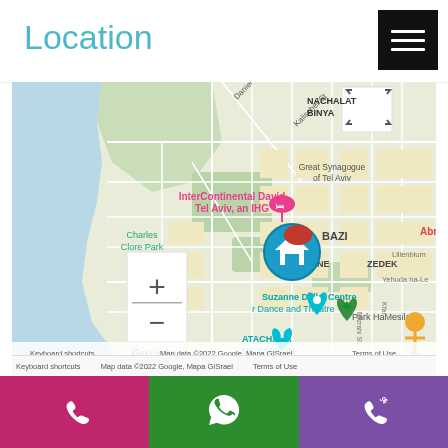Location
[Figure (map): Google Maps screenshot showing Tel Aviv area around Neve Tzedek neighborhood, with a home location marker (blue), InterContinental David Tel Aviv hotel pin (pink), Suzanne Dellal Centre pin (teal), Park HaMesila pin (green). Visible landmarks include Charles Clore Park, Great Synagogue of Tel Aviv, ATACHANA HE STATION. Map footer shows 'Keyboard shortcuts | Map data ©2022 Google, Mapa GISrael | Terms of Use'. Zoom controls (+/-) visible on left side.]
Keyboard shortcuts   Map data ©2022 Google, Mapa GISrael   Terms of Use